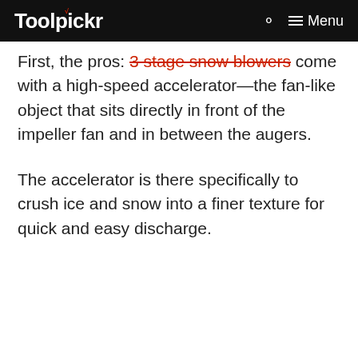Toolpickr  Menu
First, the pros: 3 stage snow blowers come with a high-speed accelerator—the fan-like object that sits directly in front of the impeller fan and in between the augers.
The accelerator is there specifically to crush ice and snow into a finer texture for quick and easy discharge.